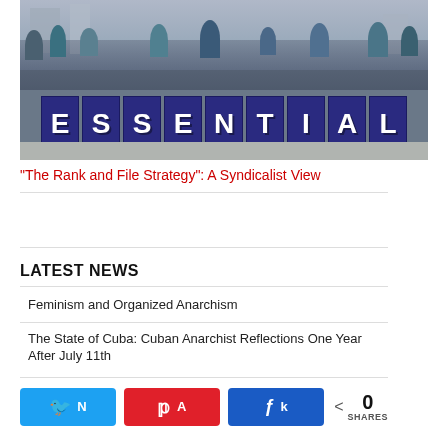[Figure (photo): Protesters/marchers holding dark blue signs spelling out ESSENTIAL in large white letters]
“The Rank and File Strategy”: A Syndicalist View
LATEST NEWS
Feminism and Organized Anarchism
The State of Cuba: Cuban Anarchist Reflections One Year After July 11th